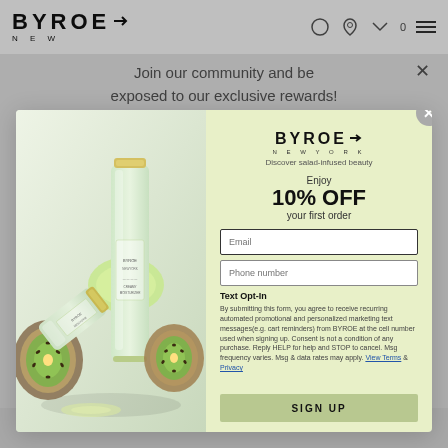BYROE NEW
Join our community and be exposed to our exclusive rewards!
[Figure (screenshot): Modal popup with BYROE product photo (skincare tubes with kiwi and apple) on the left and a sign-up form on the right with light green background]
BYROE NEWYORK
Discover salad-infused beauty
Enjoy
10% OFF
your first order
Email
Phone number
Text Opt-In
By submitting this form, you agree to receive recurring automated promotional and personalized marketing text messages (e.g. cart reminders) from BYROE at the cell number used when signing up. Consent is not a condition of any purchase. Reply HELP for help and STOP to cancel. Msg frequency varies. Msg & data rates may apply. View Terms & Privacy
SIGN UP